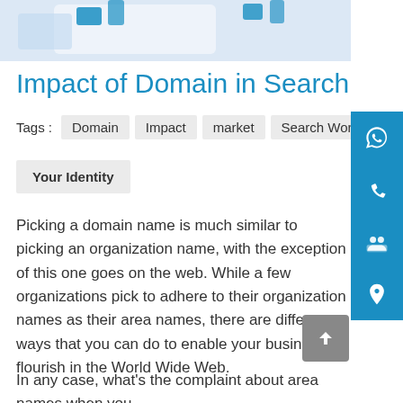[Figure (photo): Partial view of a document or device with blue elements on a light background]
Impact of Domain in Search
Tags :  Domain  Impact  market  Search Works  SEO e...  Your Identity
Picking a domain name is much similar to picking an organization name, with the exception of this one goes on the web. While a few organizations pick to adhere to their organization names as their area names, there are different ways that you can do to enable your business to flourish in the World Wide Web.
In any case, what’s the complaint about area names when you